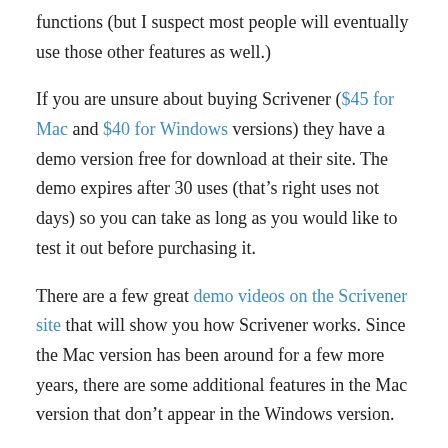functions (but I suspect most people will eventually use those other features as well.)
If you are unsure about buying Scrivener ($45 for Mac and $40 for Windows versions) they have a demo version free for download at their site. The demo expires after 30 uses (that’s right uses not days) so you can take as long as you would like to test it out before purchasing it.
There are a few great demo videos on the Scrivener site that will show you how Scrivener works. Since the Mac version has been around for a few more years, there are some additional features in the Mac version that don’t appear in the Windows version.
For the Linux users (Ubuntu/Debian/Fedora tested) the